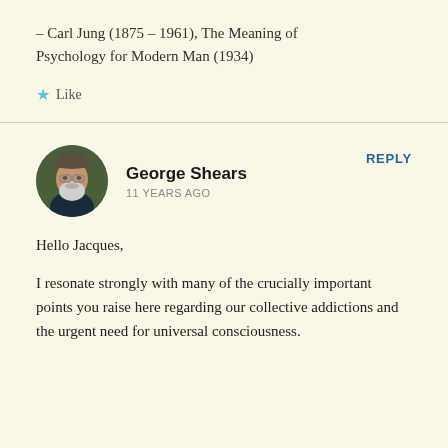– Carl Jung (1875 – 1961), The Meaning of Psychology for Modern Man (1934)
★ Like
George Shears
11 YEARS AGO
REPLY
Hello Jacques,
I resonate strongly with many of the crucially important points you raise here regarding our collective addictions and the urgent need for universal consciousness.